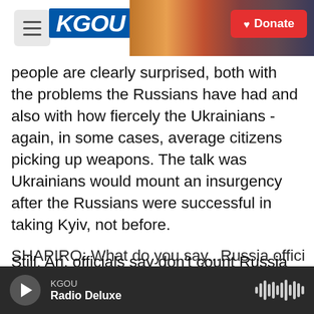KGOU | Donate
people are clearly surprised, both with the problems the Russians have had and also with how fiercely the Ukrainians - again, in some cases, average citizens picking up weapons. The talk was Ukrainians would mount an insurgency after the Russians were successful in taking Kyiv, not before.
Still, Ari, officials say don't count Russia out just yet with this invasion. About 75% of its combat forces was arrayed outside Ukraine. Now that's inside the country, and they still have significant combat power to send in, we're told.
KGOU | Radio Deluxe